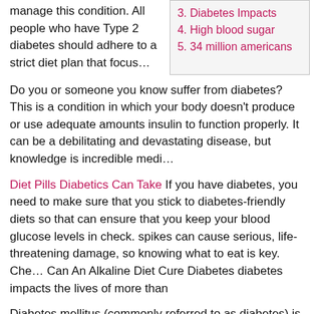manage this condition. All people who have Type 2 diabetes should adhere to a strict diet plan that focus…
3. Diabetes Impacts
4. High blood sugar
5. 34 million americans
Do you or someone you know suffer from diabetes? This is a condition in which your body doesn't produce or use adequate amounts insulin to function properly. It can be a debilitating and devastating disease, but knowledge is incredible medi…
Diet Pills Diabetics Can Take If you have diabetes, you need to make sure that you stick to diabetes-friendly diets so that can ensure that you keep your blood glucose levels in check. spikes can cause serious, life-threatening damage, so knowing what to eat is key. Che… Can An Alkaline Diet Cure Diabetes diabetes impacts the lives of more than
Diabetes mellitus (commonly referred to as diabetes) is a medical condition that is associated with high blood sugar. It